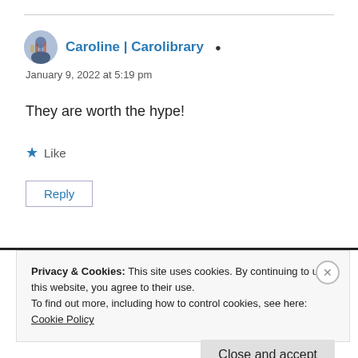Caroline | Carolibrary
January 9, 2022 at 5:19 pm
They are worth the hype!
★ Like
Reply
Privacy & Cookies: This site uses cookies. By continuing to use this website, you agree to their use.
To find out more, including how to control cookies, see here: Cookie Policy
Close and accept